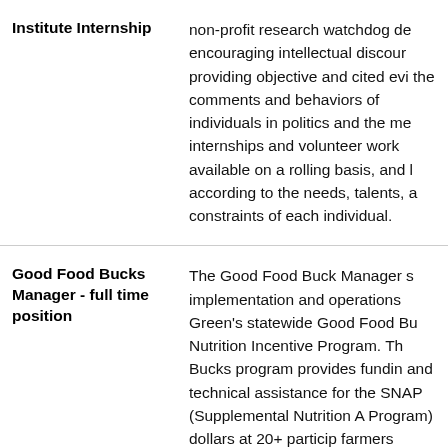| Position | Description |
| --- | --- |
| Institute Internship | non-profit research watchdog de encouraging intellectual discour providing objective and cited evi the comments and behaviors of individuals in politics and the me internships and volunteer work available on a rolling basis, and l according to the needs, talents, a constraints of each individual. |
| Good Food Bucks Manager - full time position | The Good Food Buck Manager s implementation and operations Green's statewide Good Food Bu Nutrition Incentive Program. Th Bucks program provides fundin and technical assistance for the SNAP (Supplemental Nutrition A Program) dollars at 20+ particip farmers markets, grocers, and o food retailers. The Good Food Bi |